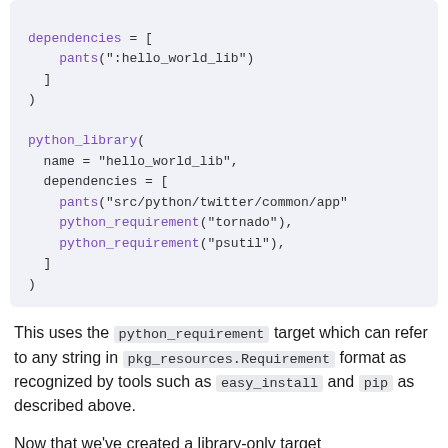[Figure (other): Code block showing python_library BUILD target with dependencies including pants, python_requirement for tornado and psutil]
This uses the python_requirement target which can refer to any string in pkg_resources.Requirement format as recognized by tools such as easy_install and pip as described above.
Now that we've created a library-only target